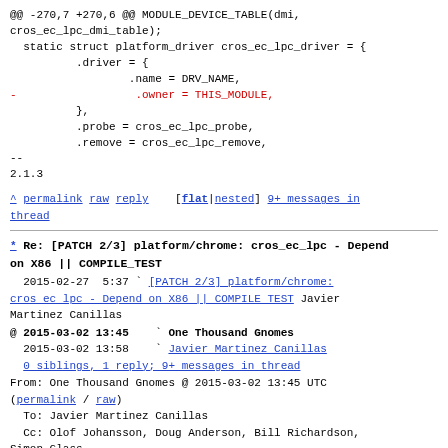@@ -270,7 +270,6 @@ MODULE_DEVICE_TABLE(dmi,
cros_ec_lpc_dmi_table);
  static struct platform_driver cros_ec_lpc_driver = {
          .driver = {
                  .name = DRV_NAME,
-                  .owner = THIS_MODULE,
          },
          .probe = cros_ec_lpc_probe,
          .remove = cros_ec_lpc_remove,
--
2.1.3
^ permalink raw reply    [flat|nested] 9+ messages in thread
* Re: [PATCH 2/3] platform/chrome: cros_ec_lpc - Depend on X86 || COMPILE_TEST
  2015-02-27  5:37 ` [PATCH 2/3] platform/chrome: cros ec lpc - Depend on X86 || COMPILE TEST Javier Martinez Canillas
@ 2015-03-02 13:45   ` One Thousand Gnomes
  2015-03-02 13:58     ` Javier Martinez Canillas
  0 siblings, 1 reply; 9+ messages in thread
From: One Thousand Gnomes @ 2015-03-02 13:45 UTC (permalink / raw)
  To: Javier Martinez Canillas
  Cc: Olof Johansson, Doug Anderson, Bill Richardson, Simon Glass,